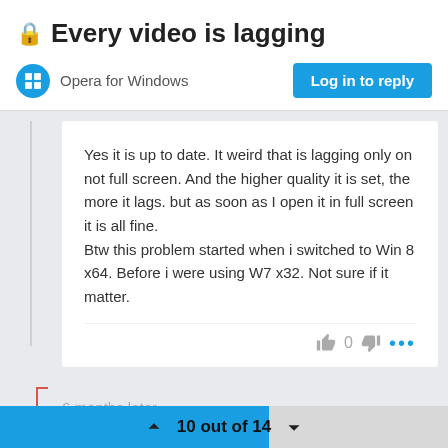Every video is lagging
Opera for Windows
Log in to reply
Yes it is up to date. It weird that is lagging only on not full screen. And the higher quality it is set, the more it lags. but as soon as I open it in full screen it is all fine.
Btw this problem started when i switched to Win 8 x64. Before i were using W7 x32. Not sure if it matter.
6 months later
10 out of 14